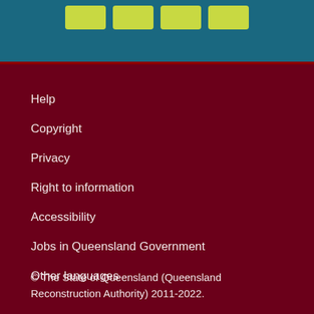[Figure (other): Teal header band with four yellow-green social media icon buttons]
Help
Copyright
Privacy
Right to information
Accessibility
Jobs in Queensland Government
Other languages
© The State of Queensland (Queensland Reconstruction Authority) 2011-2022.